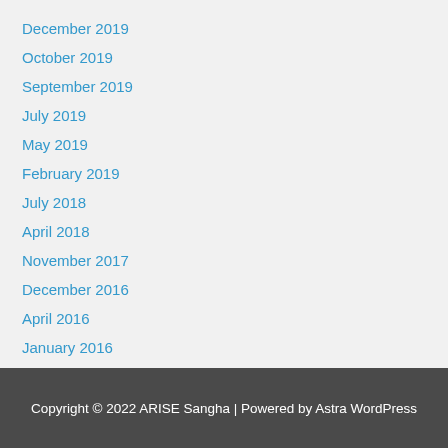December 2019
October 2019
September 2019
July 2019
May 2019
February 2019
July 2018
April 2018
November 2017
December 2016
April 2016
January 2016
Copyright © 2022 ARISE Sangha | Powered by Astra WordPress